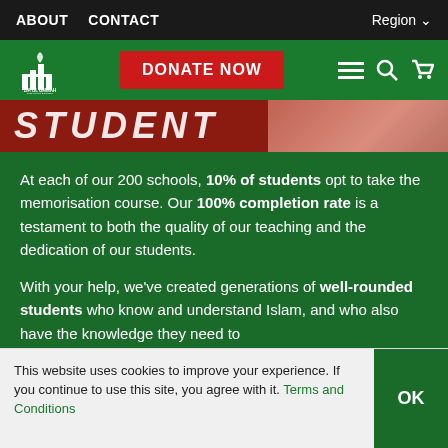ABOUT   CONTACT   Region
[Figure (logo): Zia Ul Ummah Foundation logo with Arabic calligraphy and English text, on green header bar with DONATE NOW red button and navigation icons]
[Figure (photo): Banner image showing partial text 'STUDENT' in white letters on red background, with a partial photo of a student on the right]
At each of our 200 schools, 10% of students opt to take the memorisation course. Our 100% completion rate is a testament to both the quality of our teaching and the dedication of our students.
With your help, we've created generations of well-rounded students who know and understand Islam, and who also have the knowledge they need to
This website uses cookies to improve your experience. If you continue to use this site, you agree with it. Terms and Conditions   OK